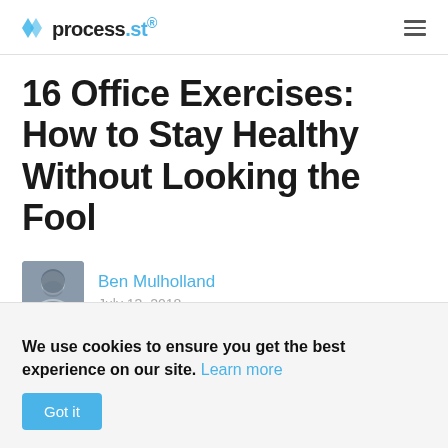process.st
16 Office Exercises: How to Stay Healthy Without Looking the Fool
Ben Mulholland
July 13, 2018
Personal
We use cookies to ensure you get the best experience on our site. Learn more
Got it